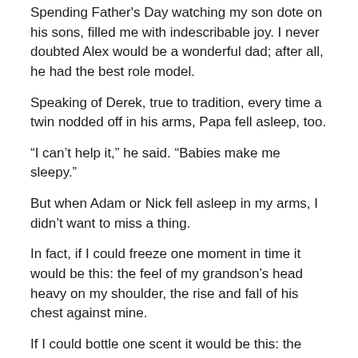Spending Father's Day watching my son dote on his sons, filled me with indescribable joy. I never doubted Alex would be a wonderful dad; after all, he had the best role model.
Speaking of Derek, true to tradition, every time a twin nodded off in his arms, Papa fell asleep, too.
“I can’t help it,” he said. “Babies make me sleepy.”
But when Adam or Nick fell asleep in my arms, I didn’t want to miss a thing.
In fact, if I could freeze one moment in time it would be this: the feel of my grandson’s head heavy on my shoulder, the rise and fall of his chest against mine.
If I could bottle one scent it would be this: the sweet smell of his head tucked beneath my chin.